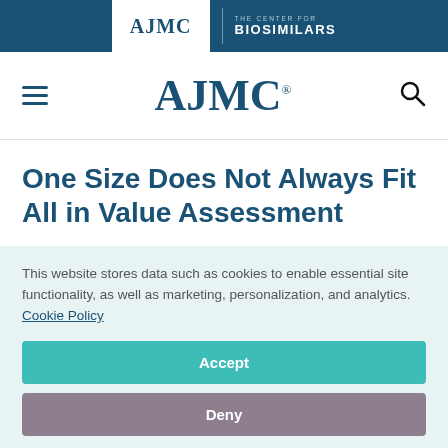AJMC | THE CENTER FOR BIOSIMILARS
AJMC
One Size Does Not Always Fit All in Value Assessment
This website stores data such as cookies to enable essential site functionality, as well as marketing, personalization, and analytics. Cookie Policy
Accept
Deny